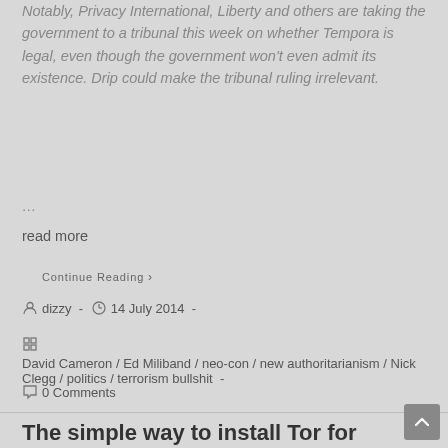Notably, Privacy International, Liberty and others are taking the government to a tribunal this week on whether Tempora is legal, even though the government won't even admit its existence. Drip could make the tribunal ruling irrelevant.
...
read more
Continue Reading ›
dizzy  -  14 July 2014  -
David Cameron / Ed Miliband / neo-con / new authoritarianism / Nick Clegg / politics / terrorism bullshit -
0 Comments
The simple way to install Tor for